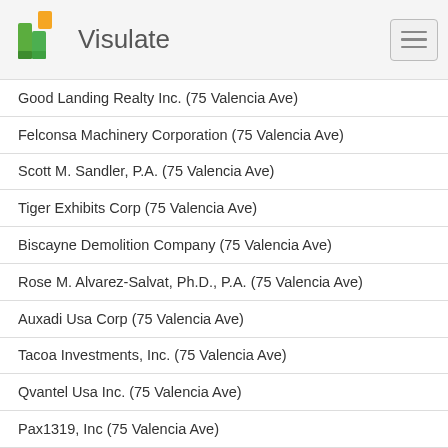Visulate
Good Landing Realty Inc. (75 Valencia Ave)
Felconsa Machinery Corporation (75 Valencia Ave)
Scott M. Sandler, P.A. (75 Valencia Ave)
Tiger Exhibits Corp (75 Valencia Ave)
Biscayne Demolition Company (75 Valencia Ave)
Rose M. Alvarez-Salvat, Ph.D., P.A. (75 Valencia Ave)
Auxadi Usa Corp (75 Valencia Ave)
Tacoa Investments, Inc. (75 Valencia Ave)
Qvantel Usa Inc. (75 Valencia Ave)
Pax1319, Inc (75 Valencia Ave)